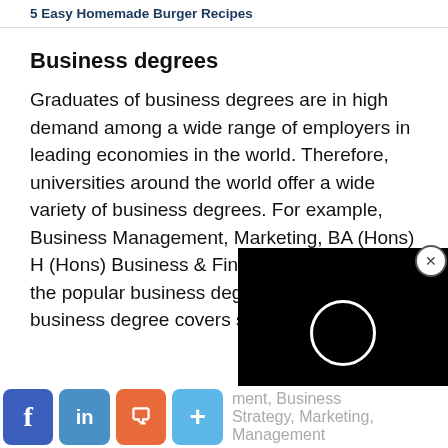5 Easy Homemade Burger Recipes
Business degrees
Graduates of business degrees are in high demand among a wide range of employers in leading economies in the world. Therefore, universities around the world offer a wide variety of business degrees. For example, Business Management, Marketing, BA (Hons) H... (Hons) Business & Finance are some of the popular business degrees. Often a business degree covers subjects such as Management, Business Strategy, Marketing, Management
[Figure (screenshot): Black video player overlay with loading circle spinner and a CLOSE button]
Social sharing icons: Facebook, LinkedIn, Reddit, Share+; faded text: ment, Business Strategy, Marketing, Management